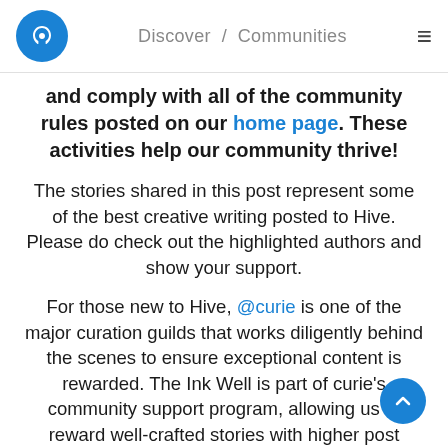Discover / Communities
and comply with all of the community rules posted on our home page. These activities help our community thrive!
The stories shared in this post represent some of the best creative writing posted to Hive. Please do check out the highlighted authors and show your support.
For those new to Hive, @curie is one of the major curation guilds that works diligently behind the scenes to ensure exceptional content is rewarded. The Ink Well is part of curie's community support program, allowing us to reward well-crafted stories with higher post payouts. @curie rewards all categories